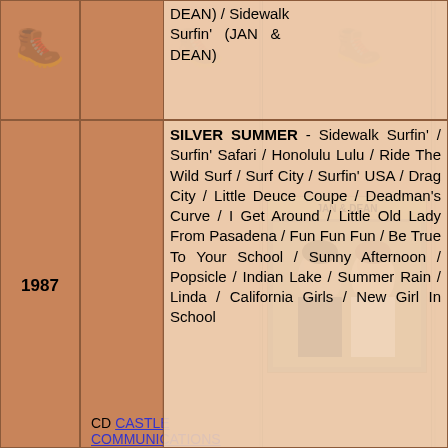DEAN) / Sidewalk Surfin' (JAN & DEAN)
1987
CD CASTLE COMMUNICATIONS SHCD 162 (UK)
[Figure (photo): Album cover photo of Jan & Dean showing two people]
SILVER SUMMER - Sidewalk Surfin' / Surfin' Safari / Honolulu Lulu / Ride The Wild Surf / Surf City / Surfin' USA / Drag City / Little Deuce Coupe / Deadman's Curve / I Get Around / Little Old Lady From Pasadena / Fun Fun Fun / Be True To Your School / Sunny Afternoon / Popsicle / Indian Lake / Summer Rain / Linda / California Girls / New Girl In School